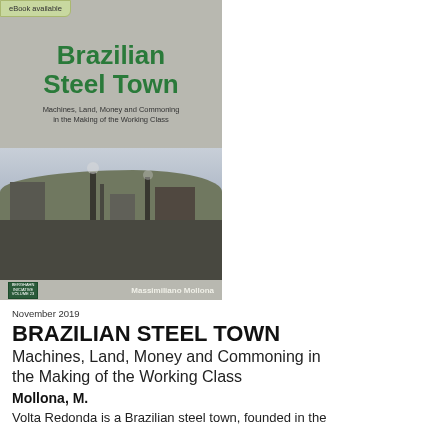[Figure (illustration): Book cover of 'Brazilian Steel Town' by Massimiliano Mollona, showing green bold title text on grey background with photo of industrial steel plant and cityscape below. Publisher logo and author name at bottom. eBook available badge in top left corner.]
November 2019
BRAZILIAN STEEL TOWN
Machines, Land, Money and Commoning in the Making of the Working Class
Mollona, M.
Volta Redonda is a Brazilian steel town, founded in the